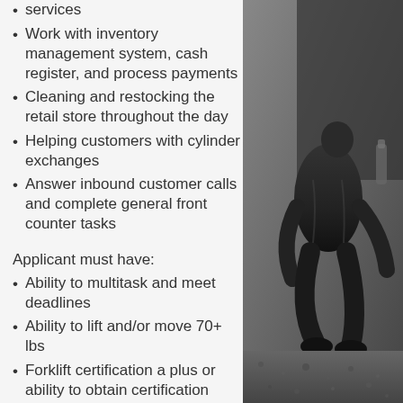services
Work with inventory management system, cash register, and process payments
Cleaning and restocking the retail store throughout the day
Helping customers with cylinder exchanges
Answer inbound customer calls and complete general front counter tasks
Applicant must have:
Ability to multitask and meet deadlines
Ability to lift and/or move 70+ lbs
Forklift certification a plus or ability to obtain certification
Flexible, part-time position
Minimum of 18 years old
[Figure (photo): Black and white photo of a person in work gear, crouching or kneeling on a surface with gravel or pavement visible in the background.]